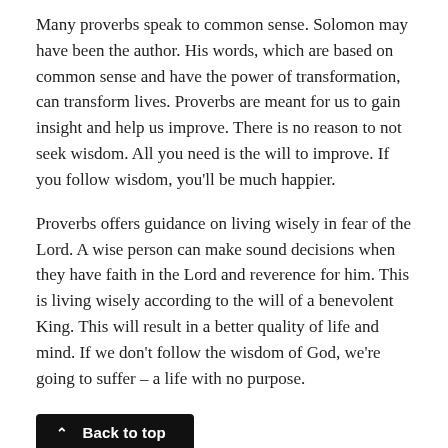Many proverbs speak to common sense. Solomon may have been the author. His words, which are based on common sense and have the power of transformation, can transform lives. Proverbs are meant for us to gain insight and help us improve. There is no reason to not seek wisdom. All you need is the will to improve. If you follow wisdom, you'll be much happier.
Proverbs offers guidance on living wisely in fear of the Lord. A wise person can make sound decisions when they have faith in the Lord and reverence for him. This is living wisely according to the will of a benevolent King. This will result in a better quality of life and mind. If we don't follow the wisdom of God, we're going to suffer – a life with no purpose.
What does the Bible have in common with wisdom?
Proverbs has the true mission of wisdom of...